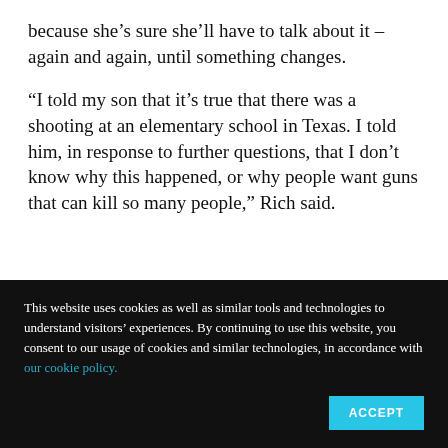because she’s sure she’ll have to talk about it – again and again, until something changes.
“I told my son that it’s true that there was a shooting at an elementary school in Texas. I told him, in response to further questions, that I don’t know why this happened, or why people want guns that can kill so many people,” Rich said.
This website uses cookies as well as similar tools and technologies to understand visitors’ experiences. By continuing to use this website, you consent to our usage of cookies and similar technologies, in accordance with our cookie policy.